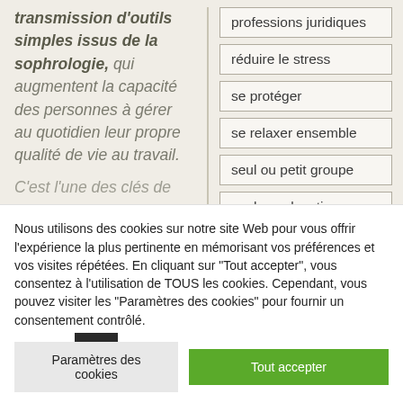transmission d'outils simples issus de la sophrologie, qui augmentent la capacité des personnes à gérer au quotidien leur propre qualité de vie au travail. C'est l'une des clés de
professions juridiques
réduire le stress
se protéger
se relaxer ensemble
seul ou petit groupe
sophro-relaxation
Stress intense
Nous utilisons des cookies sur notre site Web pour vous offrir l'expérience la plus pertinente en mémorisant vos préférences et vos visites répétées. En cliquant sur "Tout accepter", vous consentez à l'utilisation de TOUS les cookies. Cependant, vous pouvez visiter les "Paramètres des cookies" pour fournir un consentement contrôlé.
Paramètres des cookies
Tout accepter